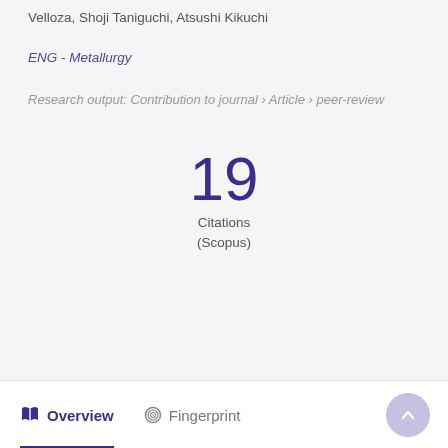Velloza, Shoji Taniguchi, Atsushi Kikuchi
ENG - Metallurgy
Research output: Contribution to journal › Article › peer-review
19 Citations (Scopus)
Overview   Fingerprint